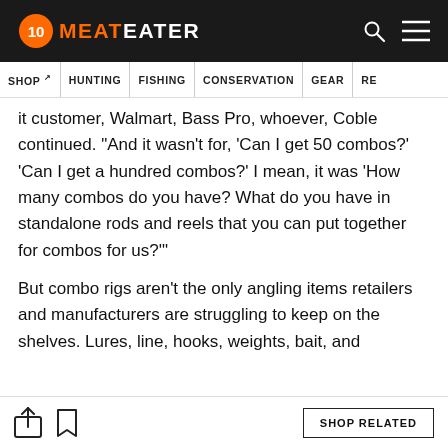MeatEater
SHOP | HUNTING | FISHING | CONSERVATION | GEAR | RE
it customer, Walmart, Bass Pro, whoever, Coble continued. “And it wasn’t for, ‘Can I get 50 combos?’ ‘Can I get a hundred combos?’ I mean, it was ‘How many combos do you have? What do you have in standalone rods and reels that you can put together for combos for us?’”
But combo rigs aren’t the only angling items retailers and manufacturers are struggling to keep on the shelves. Lures, line, hooks, weights, bait, and